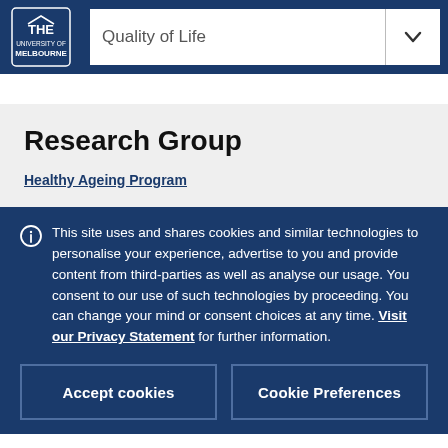Quality of Life
Research Group
Healthy Ageing Program
This site uses and shares cookies and similar technologies to personalise your experience, advertise to you and provide content from third-parties as well as analyse our usage. You consent to our use of such technologies by proceeding. You can change your mind or consent choices at any time. Visit our Privacy Statement for further information.
Accept cookies
Cookie Preferences